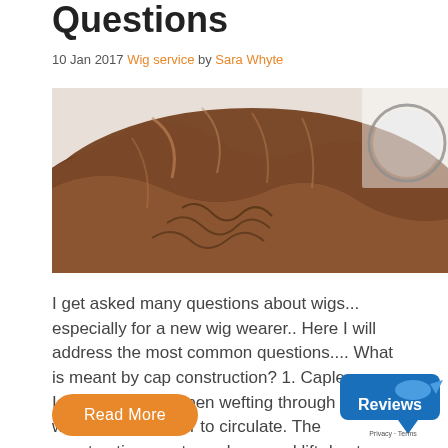Questions
10 Jan 2017 Wig service by Sara Whyte
[Figure (photo): Close-up photo of brown wavy hair and a partial view of glasses/circular frame on a white background]
I get asked many questions about wigs... especially for a new wig wearer.. Here I will address the most common questions.... What is meant by cap construction? 1. Capless – Identified by the open wefting through out the wig allowing the air to circulate. The construction creates volume and lift due to the slight pre- [...]
Read More